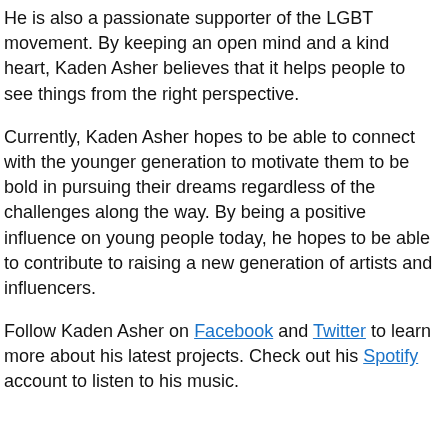He is also a passionate supporter of the LGBT movement. By keeping an open mind and a kind heart, Kaden Asher believes that it helps people to see things from the right perspective.
Currently, Kaden Asher hopes to be able to connect with the younger generation to motivate them to be bold in pursuing their dreams regardless of the challenges along the way. By being a positive influence on young people today, he hopes to be able to contribute to raising a new generation of artists and influencers.
Follow Kaden Asher on Facebook and Twitter to learn more about his latest projects. Check out his Spotify account to listen to his music.